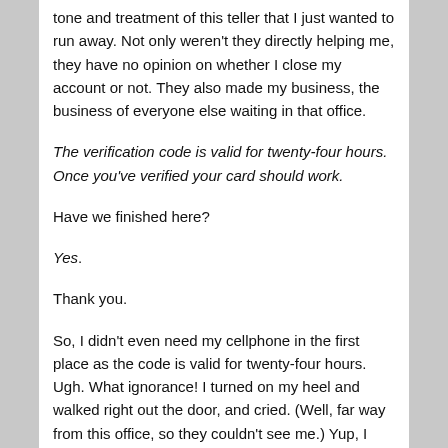tone and treatment of this teller that I just wanted to run away. Not only weren't they directly helping me, they have no opinion on whether I close my account or not. They also made my business, the business of everyone else waiting in that office.
The verification code is valid for twenty-four hours. Once you've verified your card should work.
Have we finished here?
Yes.
Thank you.
So, I didn't even need my cellphone in the first place as the code is valid for twenty-four hours. Ugh. What ignorance! I turned on my heel and walked right out the door, and cried. (Well, far way from this office, so they couldn't see me.) Yup, I freaking cried from the wrath of this person. It was more of a "shock" cry than a "poor me" cry. The audacity. the still olio from this could be recalled it...